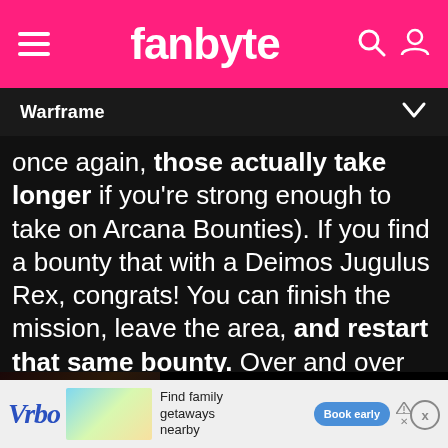fanbyte
Warframe
once again, those actually take longer if you're strong enough to take on Arcana Bounties). If you find a bounty that with a Deimos Jugulus Rex, congrats! You can finish the mission, leave the area, and restart that same bounty. Over and over again. The mini-
[Figure (screenshot): Video player overlay showing a cat-themed 'First Byte' video thumbnail with play button, and title text 'Stray? More Like Hey! This Game's Pretty Good | First Byte']
[Figure (screenshot): Advertisement banner for Vrbo with 'Find family getaways nearby' text and 'Book early' button]